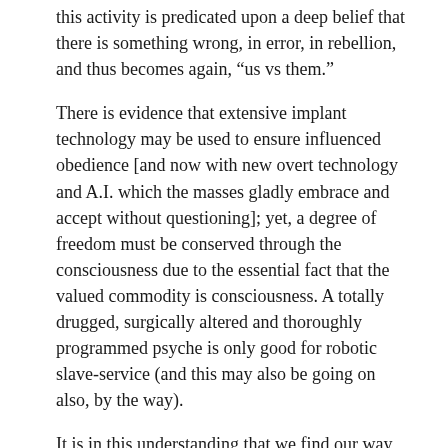this activity is predicated upon a deep belief that there is something wrong, in error, in rebellion, and thus becomes again, “us vs them.”
There is evidence that extensive implant technology may be used to ensure influenced obedience [and now with new overt technology and A.I. which the masses gladly embrace and accept without questioning]; yet, a degree of freedom must be conserved through the consciousness due to the essential fact that the valued commodity is consciousness. A totally drugged, surgically altered and thoroughly programmed psyche is only good for robotic slave-service (and this may also be going on also, by the way).
It is in this understanding that we find our way out of the trap. It isn’t easy, but it is a way. The primary object of Negative stalking is to persuade through strongly influenced, but not robotic, behavior patterns, the Free Choice of the targeted CONSCIOUSNESS to align with negative higher-density existence. Because, in the Long Run, the object is the “eating” of functioning units of